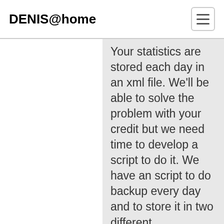DENIS@home
Your statistics are stored each day in an xml file. We'll be able to solve the problem with your credit but we need time to develop a script to do it. We have an script to do backup every day and to store it in two different